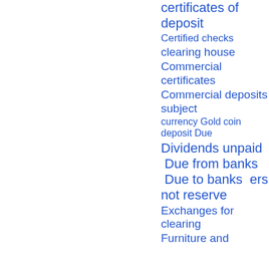certificates of deposit
Certified checks
clearing house
Commercial certificates
Commercial deposits subject
currency Gold coin deposit Due
Dividends unpaid  Due from banks  Due to banks  ers not reserve
Exchanges for clearing
Furniture and